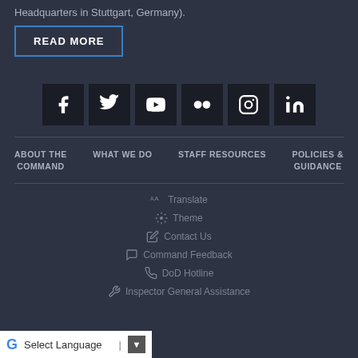Headquarters in Stuttgart, Germany).
READ MORE
[Figure (infographic): Social media icons row: Facebook, Twitter, YouTube, Flickr, Instagram, LinkedIn — white icons on dark square backgrounds]
ABOUT THE COMMAND
WHAT WE DO
STAFF RESOURCES
POLICIES & GUIDANCE
Translate
Theme
Contact Us
Command Feedback
DoD Hotline
Inspector General Assistance
Select Language